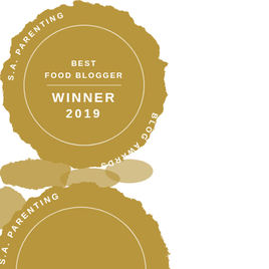[Figure (illustration): S.A. Parenting Blog Awards badge - gold circular stamp with text 'BEST FOOD BLOGGER' and 'WINNER 2019' in white, with curved text 'S.A. PARENTING BLOG AWARDS' around the perimeter]
[Figure (illustration): S.A. Parenting Blog Awards badge - gold circular stamp (partially cropped) with text 'BEST PHOTOGRAPHY BLOGGER' in white, with curved text 'S.A. PARENTING' visible around the perimeter]